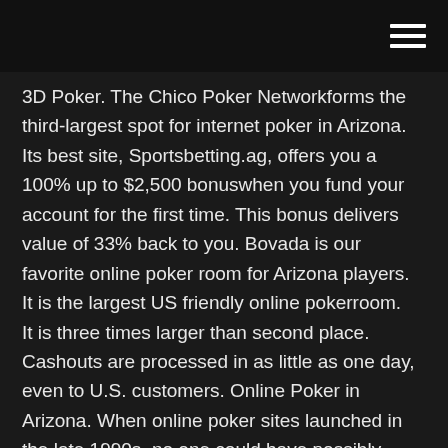[hamburger menu icon]
3D Poker. The Chico Poker Networkforms the third-largest spot for internet poker in Arizona. Its best site, Sportsbetting.ag, offers you a 100% up to $2,500 bonuswhen you fund your account for the first time. This bonus delivers value of 33% back to you. Bovada is our favorite online poker room for Arizona players.   It is the largest US friendly online pokerroom.   It is three times larger than second place.   Cashouts are processed in as little as one day, even to U.S. customers. Online Poker in Arizona. When online poker sites launched in the late 1990s, no one could have possibly imagined the way they would change the gambling landscape across the world. This is especially true in the United States, as players from Arizona and other states joined online poker sites at a fever